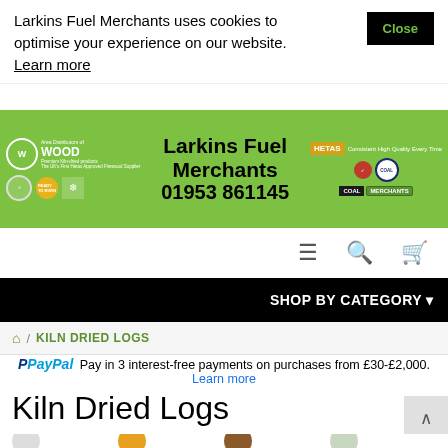Larkins Fuel Merchants uses cookies to optimise your experience on our website. Learn more
[Figure (screenshot): Larkins Fuel Merchants website header banner with green background, company name, phone number 01953 861145, and various certification logos]
[Figure (screenshot): Navigation bar with hamburger menu, search, and cart icons]
SHOP BY CATEGORY
/ KILN DRIED LOGS
Pay in 3 interest-free payments on purchases from £30-£2,000. Learn more
Kiln Dried Logs
[Figure (screenshot): Partial view of product category icons at the bottom of the page]